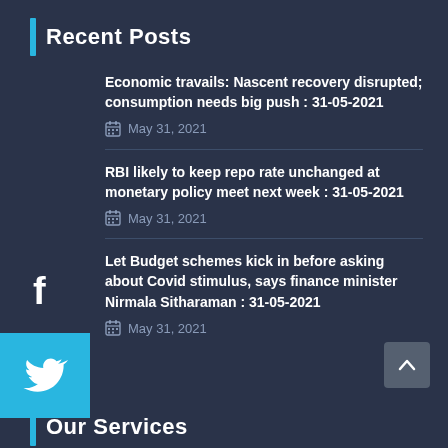Recent Posts
Economic travails: Nascent recovery disrupted; consumption needs big push : 31-05-2021
May 31, 2021
RBI likely to keep repo rate unchanged at monetary policy meet next week : 31-05-2021
May 31, 2021
Let Budget schemes kick in before asking about Covid stimulus, says finance minister Nirmala Sitharaman : 31-05-2021
May 31, 2021
Our Services